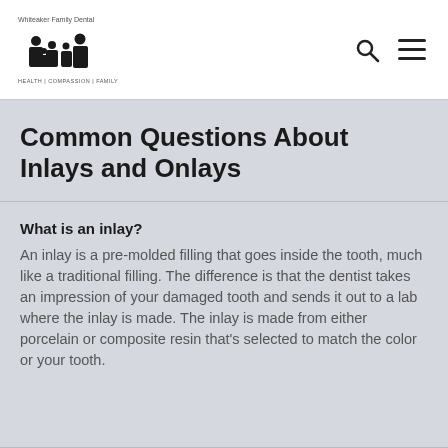[Figure (logo): Whiteaker Family Dental logo with family silhouette icon and tagline HEALTH | COMPASSION | FAMILY]
Common Questions About Inlays and Onlays
What is an inlay?
An inlay is a pre-molded filling that goes inside the tooth, much like a traditional filling. The difference is that the dentist takes an impression of your damaged tooth and sends it out to a lab where the inlay is made. The inlay is made from either porcelain or composite resin that’s selected to match the color or your tooth.